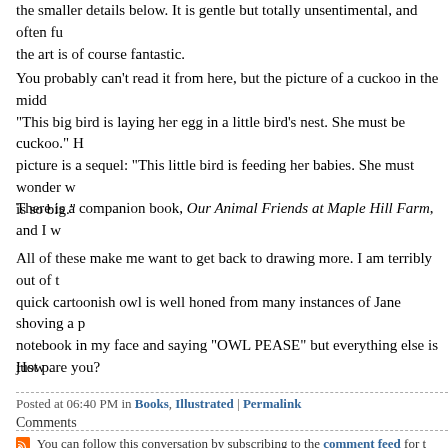the smaller details below. It is gentle but totally unsentimental, and often fu the art is of course fantastic.
You probably can't read it from here, but the picture of a cuckoo in the midd "This big bird is laying her egg in a little bird's nest. She must be cuckoo." H picture is a sequel: "This little bird is feeding her babies. She must wonder w is so big."
There is a companion book, Our Animal Friends at Maple Hill Farm, and I w
All of these make me want to get back to drawing more. I am terribly out of t quick cartoonish owl is well honed from many instances of Jane shoving a p notebook in my face and saying "OWL PEASE" but everything else is just p
How are you?
Posted at 06:40 PM in Books, Illustrated | Permalink
Comments
You can follow this conversation by subscribing to the comment feed for t